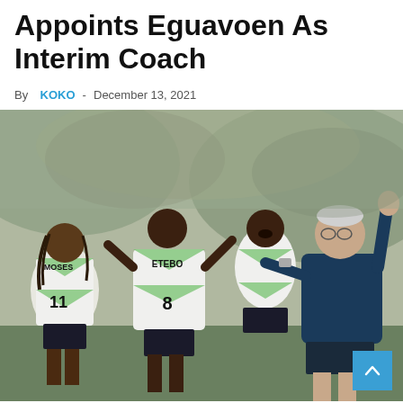Appoints Eguavoen As Interim Coach
By KOKO - December 13, 2021
[Figure (photo): Nigeria national football team players in white and green jerseys (including players with numbers 11 and 8 ETEBO) celebrating with their coach in a dark blue jacket who has his fist raised.]